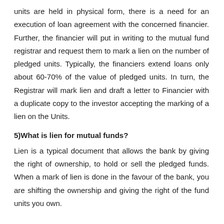units are held in physical form, there is a need for an execution of loan agreement with the concerned financier. Further, the financier will put in writing to the mutual fund registrar and request them to mark a lien on the number of pledged units. Typically, the financiers extend loans only about 60-70% of the value of pledged units. In turn, the Registrar will mark lien and draft a letter to Financier with a duplicate copy to the investor accepting the marking of a lien on the Units.
5)What is lien for mutual funds?
Lien is a typical document that allows the bank by giving the right of ownership, to hold or sell the pledged funds. When a mark of lien is done in the favour of the bank, you are shifting the ownership and giving the right of the fund units you own.